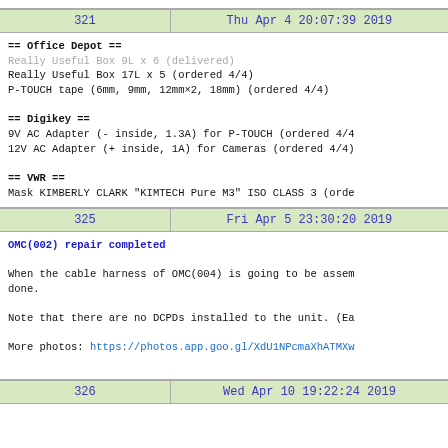| 321 | Thu Apr 4 20:07:39 2019 |
| --- | --- |
== Office Depot ==
Really Useful Box 9L x 6 (delivered)
Really Useful Box 17L x 5 (ordered 4/4)
P-TOUCH tape (6mm, 9mm, 12mmx2, 18mm) (ordered 4/4)

== Digikey ==
9V AC Adapter (- inside, 1.3A) for P-TOUCH (ordered 4/4)
12V AC Adapter (+ inside, 1A) for Cameras (ordered 4/4)

== VWR ==
Mask KIMBERLY CLARK "KIMTECH Pure M3" ISO CLASS 3 (orde...
| 325 | Fri Apr 5 23:30:20 2019 |
| --- | --- |
OMC(002) repair completed

When the cable harness of OMC(004) is going to be assem... done.

Note that there are no DCPDs installed to the unit. (Ea...

More photos: https://photos.app.goo.gl/XdU1NPcmaXhATMXw...
| 326 | Wed Apr 10 19:22:24 2019 |
| --- | --- |